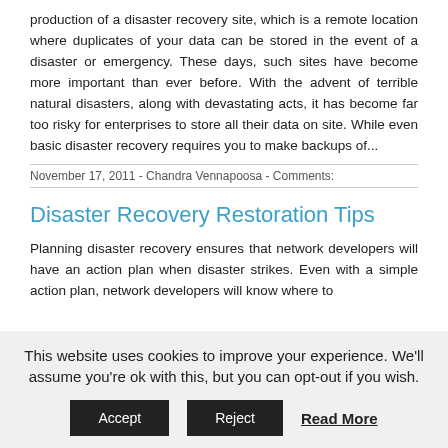production of a disaster recovery site, which is a remote location where duplicates of your data can be stored in the event of a disaster or emergency. These days, such sites have become more important than ever before. With the advent of terrible natural disasters, along with devastating acts, it has become far too risky for enterprises to store all their data on site. While even basic disaster recovery requires you to make backups of...
November 17, 2011 - Chandra Vennapoosa - Comments:
Disaster Recovery Restoration Tips
Planning disaster recovery ensures that network developers will have an action plan when disaster strikes. Even with a simple action plan, network developers will know where to
This website uses cookies to improve your experience. We'll assume you're ok with this, but you can opt-out if you wish.